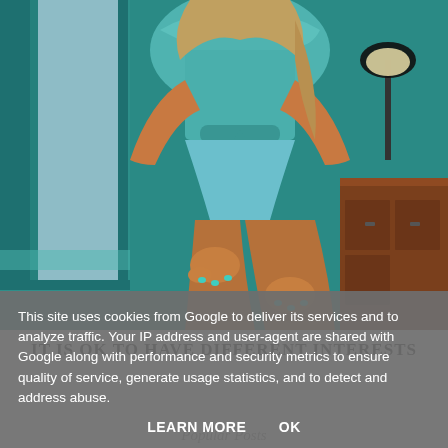[Figure (photo): A woman in a teal/blue romper outfit sitting by a teal-framed window with a wooden dresser and lamp in the background. Her hands rest on her knees with teal nail polish visible.]
IT IS OK TO HAVE DIFFERENT INTERESTS
This site uses cookies from Google to deliver its services and to analyze traffic. Your IP address and user-agent are shared with Google along with performance and security metrics to ensure quality of service, generate usage statistics, and to detect and address abuse.
LEARN MORE    OK
Popular Posts